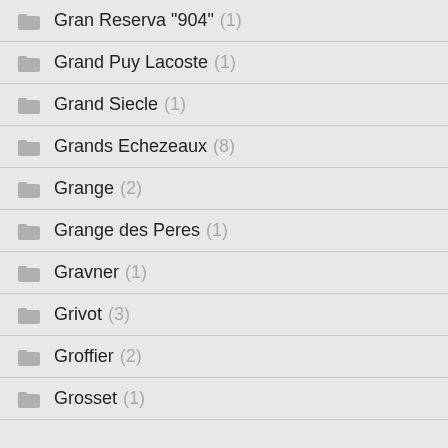Gran Reserva "904" (1)
Grand Puy Lacoste (1)
Grand Siecle (1)
Grands Echezeaux (8)
Grange (2)
Grange des Peres (1)
Gravner (1)
Grivot (3)
Groffier (2)
Grosset (1)